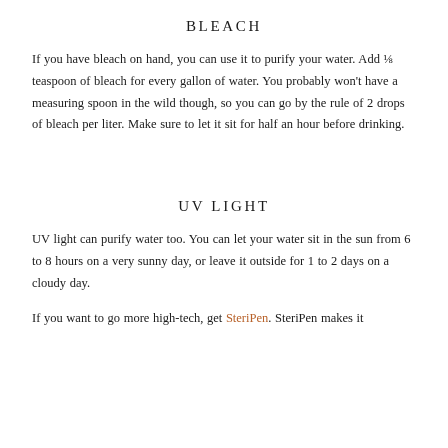BLEACH
If you have bleach on hand, you can use it to purify your water. Add ⅛ teaspoon of bleach for every gallon of water. You probably won't have a measuring spoon in the wild though, so you can go by the rule of 2 drops of bleach per liter. Make sure to let it sit for half an hour before drinking.
UV LIGHT
UV light can purify water too. You can let your water sit in the sun from 6 to 8 hours on a very sunny day, or leave it outside for 1 to 2 days on a cloudy day.
If you want to go more high-tech, get SteriPen. SteriPen makes it